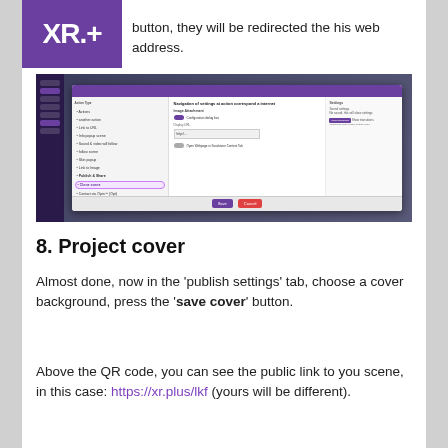XR.+
button, they will be redirected the his web address.
[Figure (screenshot): Screenshot of a web application interface showing a dialog box with action type settings. A menu item is highlighted/circled in yellow-orange, and the dialog shows toggle switches and settings. The interface has a purple sidebar and header.]
8. Project cover
Almost done, now in the 'publish settings' tab, choose a cover background, press the 'save cover' button.
Above the QR code, you can see the public link to you scene, in this case: https://xr.plus/lkf (yours will be different).